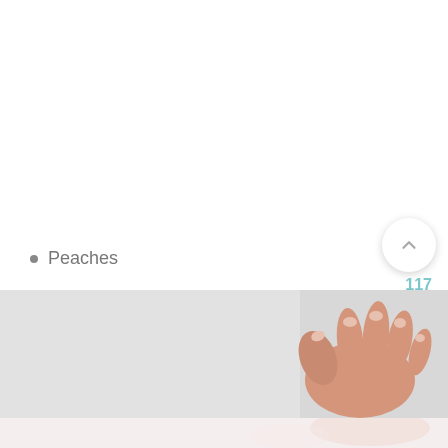Peaches
[Figure (photo): A hand touching or holding something against a light grey background, with a pinkish reflection below.]